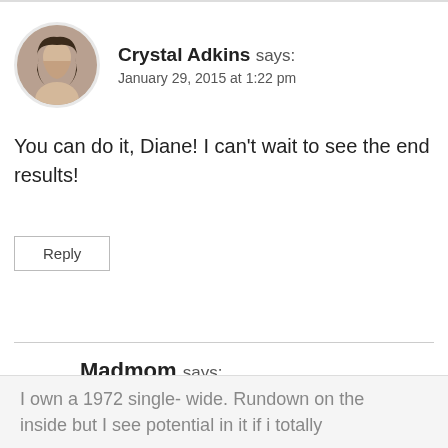Crystal Adkins says: January 29, 2015 at 1:22 pm
You can do it, Diane! I can't wait to see the end results!
Reply
Madmom says: August 23, 2014 at 10:25 pm
I own a 1972 single- wide. Rundown on the inside but I see potential in it if i totally